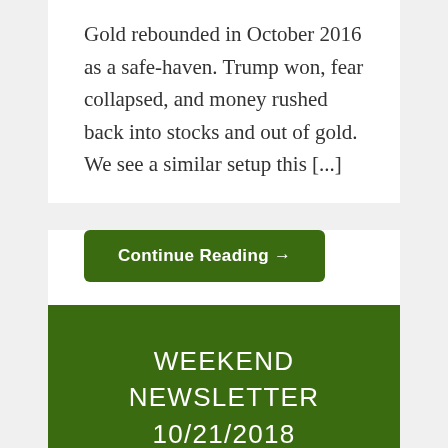Gold rebounded in October 2016 as a safe-haven. Trump won, fear collapsed, and money rushed back into stocks and out of gold. We see a similar setup this [...]
Continue Reading →
WEEKEND NEWSLETTER 10/21/2018